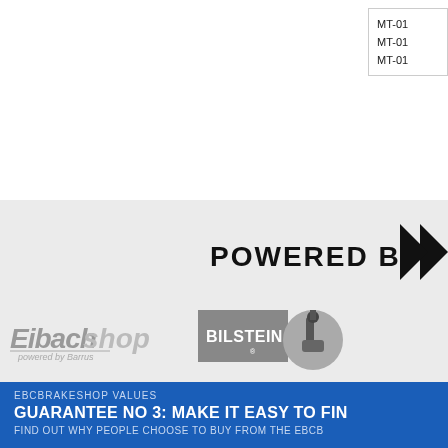| MT-01 |
| MT-01 |
| MT-01 |
[Figure (logo): POWERED BY: text with large black arrow/logo element cropped at right edge]
[Figure (logo): Eibach shop logo in grey italic text with stylized C and tagline]
[Figure (logo): Bilstein logo with grey rectangle and circular shock absorber illustration]
EBCBRAKESHOP VALUES
GUARANTEE NO 3: MAKE IT EASY TO FIN
FIND OUT WHY PEOPLE CHOOSE TO BUY FROM THE EBCB